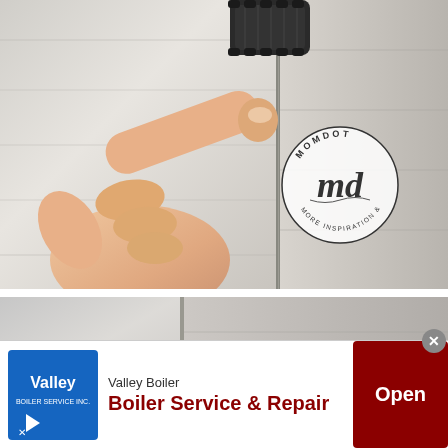[Figure (photo): A hand using a black scrubbing brush or pad against a white wooden surface. A circular MomDot logo with 'md' script lettering and text 'MORE INSPIRATION & IMAGINATION' is visible in the lower right corner of the image.]
[Figure (photo): Partial view of a similar scene — white wooden surface with MomDot logo visible in the lower right, partially cropped. A blurred background element is visible on the left side.]
[Figure (infographic): Advertisement banner for Valley Boiler. Contains Valley logo (blue box with 'Valley' text and play arrow), company name 'Valley Boiler', tagline 'Boiler Service & Repair', and an 'Open' button in dark red. A close/dismiss button (X) appears in the top-right corner of the ad.]